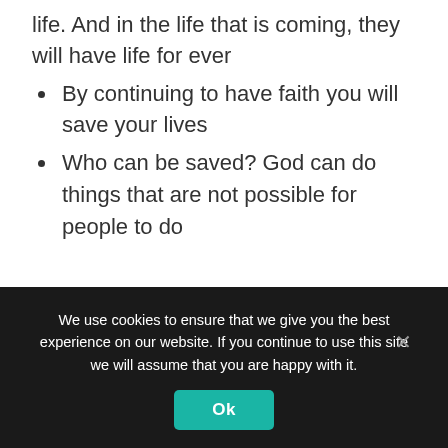life. And in the life that is coming, they will have life for ever
By continuing to have faith you will save your lives
Who can be saved? God can do things that are not possible for people to do
We use cookies to ensure that we give you the best experience on our website. If you continue to use this site we will assume that you are happy with it.
Ok